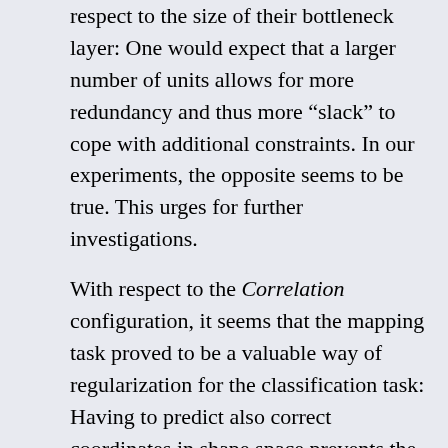respect to the size of their bottleneck layer: One would expect that a larger number of units allows for more redundancy and thus more “slack” to cope with additional constraints. In our experiments, the opposite seems to be true. This urges for further investigations.
With respect to the Correlation configuration, it seems that the mapping task proved to be a valuable way of regularization for the classification task: Having to predict also correct coordinates in shape space prevents the network from overfitting the training set with respect to making classifications. The mapping task thus acts as a reasonable substitute for dropout, which had been disabled in this configuration. This is also supported by the